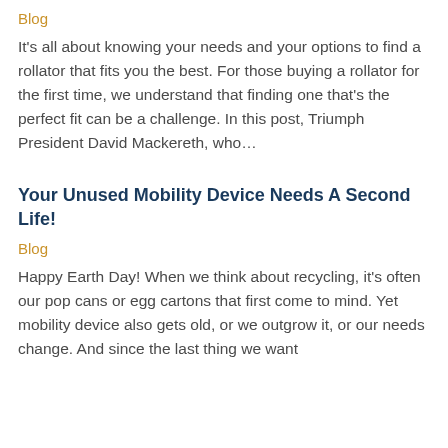Blog
It's all about knowing your needs and your options to find a rollator that fits you the best. For those buying a rollator for the first time, we understand that finding one that's the perfect fit can be a challenge. In this post, Triumph President David Mackereth, who…
Your Unused Mobility Device Needs A Second Life!
Blog
Happy Earth Day! When we think about recycling, it's often our pop cans or egg cartons that first come to mind. Yet mobility device also gets old, or we outgrow it, or our needs change. And since the last thing we want